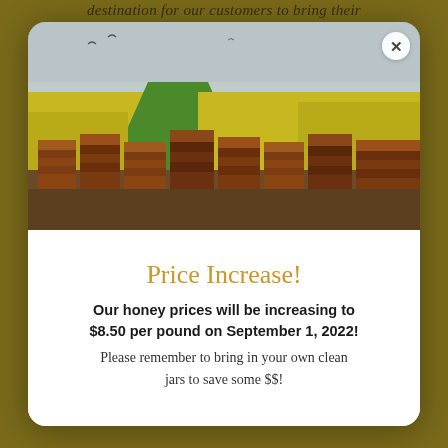destination for our customers to bring their
[Figure (photo): Beehive boxes lined up in front of a field of yellow flowering rapeseed/canola crops with a green strip running through the middle. Overcast sky in background. Multiple wooden beehive boxes in a row in foreground.]
Price Increase!
Our honey prices will be increasing to $8.50 per pound on September 1, 2022! Please remember to bring in your own clean jars to save some $$!